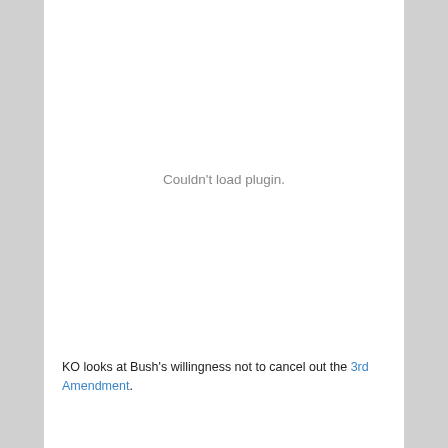[Figure (other): Plugin placeholder area showing 'Couldn't load plugin.' message in gray text on white background]
KO looks at Bush's willingness not to cancel out the 3rd Amendment.